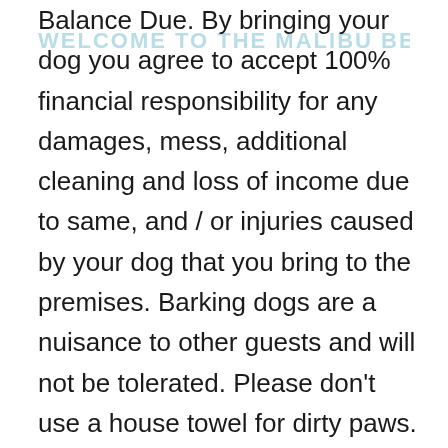Balance Due. By bringing your dog you agree to accept 100% financial responsibility for any damages, mess, additional cleaning and loss of income due to same, and / or injuries caused by your dog that you bring to the premises. Barking dogs are a nuisance to other guests and will not be tolerated. Please don't use a house towel for dirty paws. Because some family members are allergic to cats, we're sorry, but we cannot allow them.